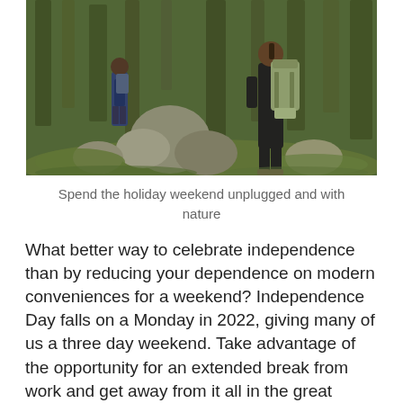[Figure (photo): Two hikers with backpacks walking on a rocky forest trail among tall trees and mossy boulders]
Spend the holiday weekend unplugged and with nature
What better way to celebrate independence than by reducing your dependence on modern conveniences for a weekend? Independence Day falls on a Monday in 2022, giving many of us a three day weekend. Take advantage of the opportunity for an extended break from work and get away from it all in the great outdoors. The Front Royal area has great options for backpacking and back country camping. Start